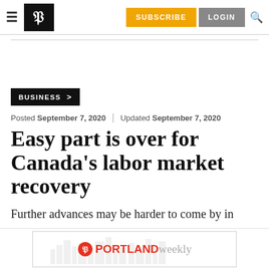P | SUBSCRIBE LOGIN
BUSINESS >
Posted September 7, 2020 | Updated September 7, 2020
Easy part is over for Canada's labor market recovery
Further advances may be harder to come by in
[Figure (logo): Portland Weekly advertisement banner with logo and cityscape silhouette]